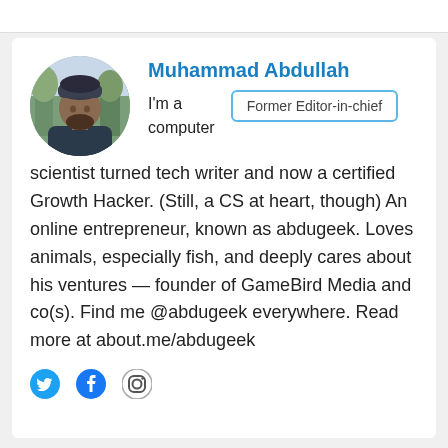Muhammad Abdullah
Former Editor-in-chief
I'm a computer scientist turned tech writer and now a certified Growth Hacker. (Still, a CS at heart, though) An online entrepreneur, known as abdugeek. Loves animals, especially fish, and deeply cares about his ventures — founder of GameBird Media and co(s). Find me @abdugeek everywhere. Read more at about.me/abdugeek
[Figure (photo): Circular profile photo of Muhammad Abdullah wearing a dark jacket and beanie hat, outdoors with trees in background]
[Figure (infographic): Social media icons: Twitter (bird), Facebook (f), Instagram (camera)]